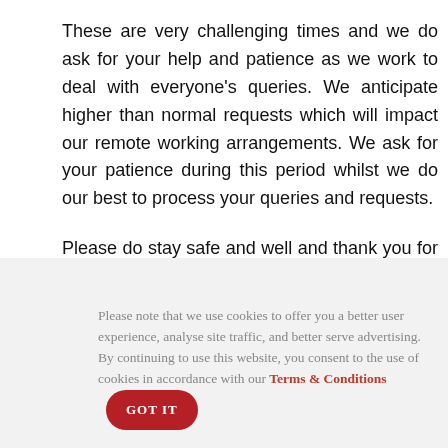These are very challenging times and we do ask for your help and patience as we work to deal with everyone's queries. We anticipate higher than normal requests which will impact our remote working arrangements. We ask for your patience during this period whilst we do our best to process your queries and requests.
Please do stay safe and well and thank you for your understanding.
Fill Application Form
Please note that we use cookies to offer you a better user experience, analyse site traffic, and better serve advertising. By continuing to use this website, you consent to the use of cookies in accordance with our Terms & Conditions  GOT IT